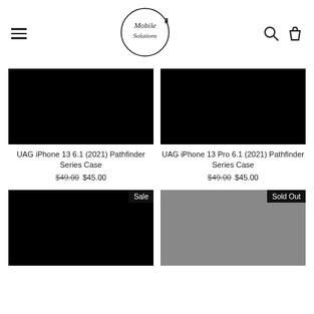Mobile Solutions — navigation header with hamburger menu, logo, search and bag icons
[Figure (screenshot): UAG iPhone 13 6.1 (2021) Pathfinder Series Case product image — black rectangle]
UAG iPhone 13 6.1 (2021) Pathfinder Series Case $49.00 $45.00
[Figure (screenshot): UAG iPhone 13 Pro 6.1 (2021) Pathfinder Series Case product image — black rectangle]
UAG iPhone 13 Pro 6.1 (2021) Pathfinder Series Case $49.00 $45.00
[Figure (screenshot): Product image — black rectangle with Sale badge]
[Figure (screenshot): Product image — gray rectangle with Sold Out badge]